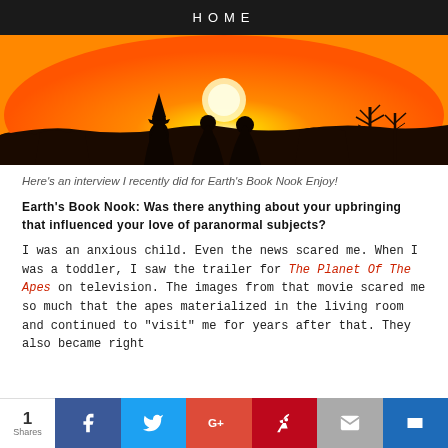HOME
[Figure (photo): Silhouettes of three figures wearing robes/cloaks against an orange sunset sky with bare trees in the background]
Here's an interview I recently did for Earth's Book Nook Enjoy!
Earth's Book Nook: Was there anything about your upbringing that influenced your love of paranormal subjects?
I was an anxious child. Even the news scared me. When I was a toddler, I saw the trailer for The Planet Of The Apes on television. The images from that movie scared me so much that the apes materialized in the living room and continued to "visit" me for years after that. They also became right